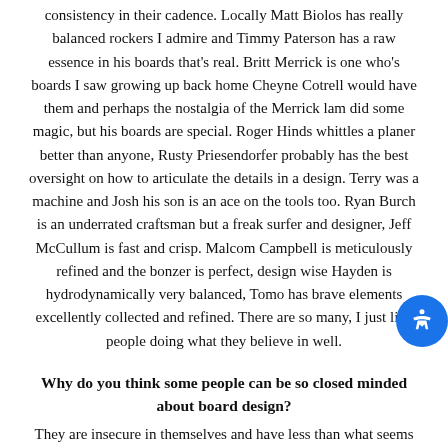consistency in their cadence. Locally Matt Biolos has really balanced rockers I admire and Timmy Paterson has a raw essence in his boards that's real. Britt Merrick is one who's boards I saw growing up back home Cheyne Cotrell would have them and perhaps the nostalgia of the Merrick lam did some magic, but his boards are special. Roger Hinds whittles a planer better than anyone, Rusty Priesendorfer probably has the best oversight on how to articulate the details in a design. Terry was a machine and Josh his son is an ace on the tools too. Ryan Burch is an underrated craftsman but a freak surfer and designer, Jeff McCullum is fast and crisp. Malcom Campbell is meticulously refined and the bonzer is perfect, design wise Hayden is hydrodynamically very balanced, Tomo has brave elements excellently collected and refined. There are so many, I just like people doing what they believe in well.
Why do you think some people can be so closed minded about board design?
They are insecure in themselves and have less than what seems invested in their surfing. They could be cheap. Possibly ridden